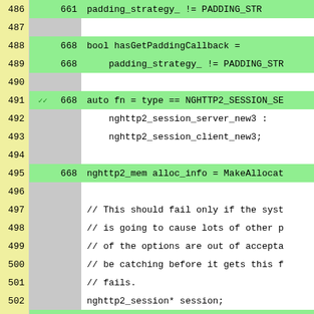[Figure (screenshot): Code coverage view showing C++ source lines 487-512 with line numbers, coverage markers (checkmarks and X), hit counts (668), and green/gray background highlighting. Lines show nghttp2 session initialization code including hasGetPaddingCallback, auto fn assignment, nghttp2_mem alloc_info, CHECK_EQ call, session reset, and outgoing storage/buffers reserve calls.]